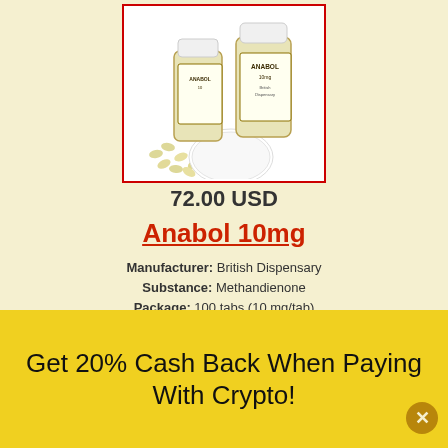[Figure (photo): Two pill bottles labeled ANABOL with white caps, with small yellow tablets spilled out, against a white background inside a red-bordered box.]
72.00 USD
Anabol 10mg
Manufacturer: British Dispensary
Substance: Methandienone
Package: 100 tabs (10 mg/tab)
Common Name(s): Danabol, D-Bol, Dianabol
DRUG PROFILE
OUT OF STOCK
Get 20% Cash Back When Paying With Crypto!